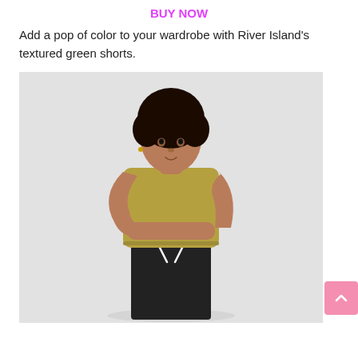BUY NOW
Add a pop of color to your wardrobe with River Island's textured green shorts.
[Figure (photo): A young man standing against a light grey background wearing a khaki/olive sleeveless muscle top and black drawstring shorts, with arms slightly folded in front of him.]